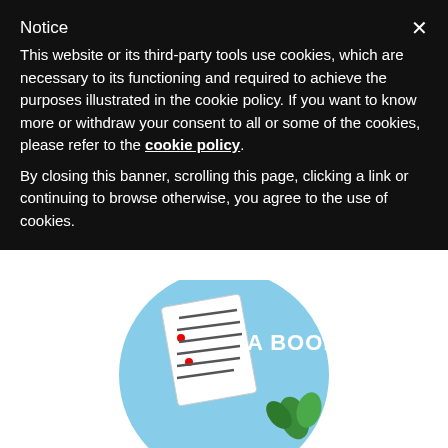Notice
This website or its third-party tools use cookies, which are necessary to its functioning and required to achieve the purposes illustrated in the cookie policy. If you want to know more or withdraw your consent to all or some of the cookies, please refer to the cookie policy.
By closing this banner, scrolling this page, clicking a link or continuing to browse otherwise, you agree to the use of cookies.
[Figure (illustration): Circular illustration for 'How to Become a Book Editor' showing a document with red edits on a light blue background with green plant elements and text 'A BOOK']
How to Become a Book Editor
136 SHARES